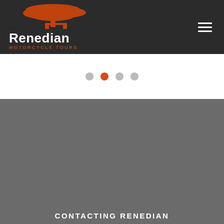[Figure (logo): Renedian Motorcycle Tours logo with orange acacia tree and white text on dark background, with hamburger menu icon on the right]
[Figure (infographic): Carousel navigation dots: four dots, second one active (orange/red), others grey, on white background]
[Figure (photo): Large grey/dark grey content area, likely a placeholder or loading image section]
CONTACTING RENEDIAN